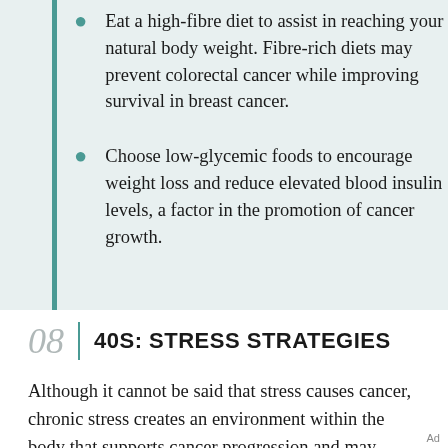Eat a high-fibre diet to assist in reaching your natural body weight. Fibre-rich diets may prevent colorectal cancer while improving survival in breast cancer.
Choose low-glycemic foods to encourage weight loss and reduce elevated blood insulin levels, a factor in the promotion of cancer growth.
08 | 40S: STRESS STRATEGIES
Although it cannot be said that stress causes cancer, chronic stress creates an environment within the body that supports cancer progression and may increase cancer risk. While we cannot